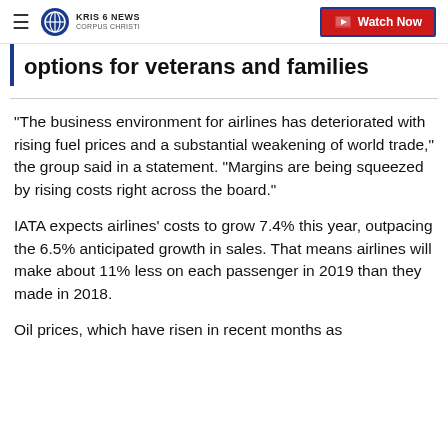KRIS 6 NEWS CORPUS CHRISTI | Watch Now
options for veterans and families
"The business environment for airlines has deteriorated with rising fuel prices and a substantial weakening of world trade," the group said in a statement. "Margins are being squeezed by rising costs right across the board."
IATA expects airlines' costs to grow 7.4% this year, outpacing the 6.5% anticipated growth in sales. That means airlines will make about 11% less on each passenger in 2019 than they made in 2018.
Oil prices, which have risen in recent months as...